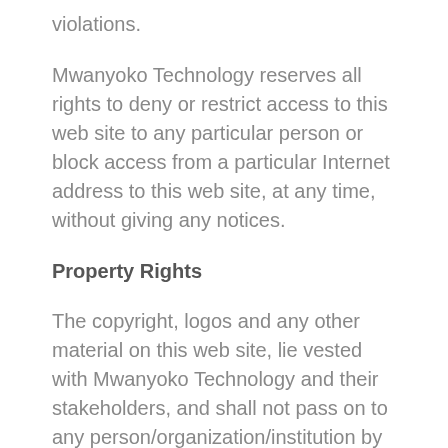violations.
Mwanyoko Technology reserves all rights to deny or restrict access to this web site to any particular person or block access from a particular Internet address to this web site, at any time, without giving any notices.
Property Rights
The copyright, logos and any other material on this web site, lie vested with Mwanyoko Technology and their stakeholders, and shall not pass on to any person/organization/institution by accessing/using these web pages. No logo, graphic, sound or image from this web site may be copied or be re-transmitted. All rights, title and interest in the content are owned, licensed or controlled by Mwanyoko Technology and its stakeholders.